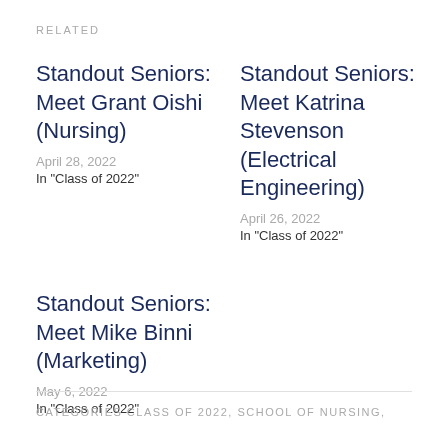RELATED
Standout Seniors: Meet Grant Oishi (Nursing)
April 28, 2022
In "Class of 2022"
Standout Seniors: Meet Katrina Stevenson (Electrical Engineering)
April 26, 2022
In "Class of 2022"
Standout Seniors: Meet Mike Binni (Marketing)
May 6, 2022
In "Class of 2022"
CATEGORIES CLASS OF 2022, SCHOOL OF NURSING,